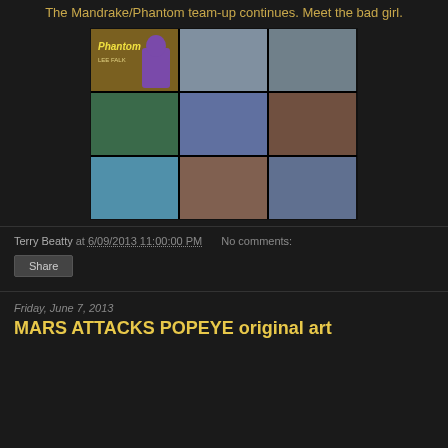The Mandrake/Phantom team-up continues. Meet the bad girl.
[Figure (photo): A comic book page showing 9 panels in a 3x3 grid. The Phantom comic by Lee Falk. Features a character in a purple superhero costume and a red-haired woman across multiple panels.]
Terry Beatty at 6/09/2013 11:00:00 PM    No comments:
Share
Friday, June 7, 2013
MARS ATTACKS POPEYE original art